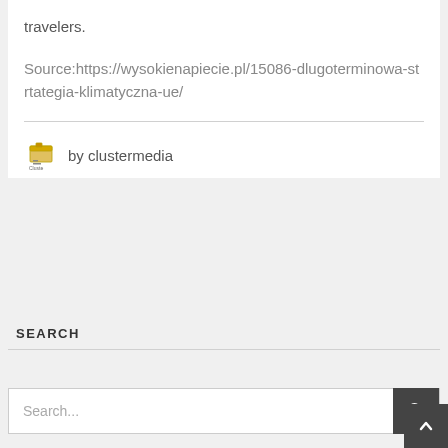travelers.
Source:https://wysokienapiecie.pl/15086-dlugoterminowa-strtategia-klimatyczna-ue/
by clustermedia
SEARCH